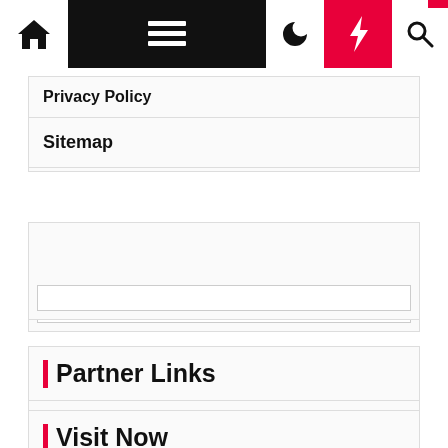Navigation bar with home, menu, moon, bolt, search icons
Privacy Policy
Sitemap
[Figure (other): Advertisement or widget placeholder box with an input field at the bottom]
Partner Links
Visit Now
Automotive